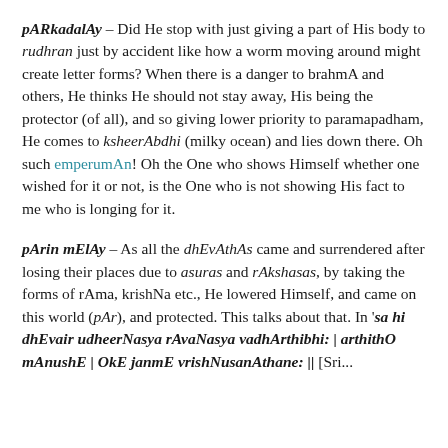pARkadalAy – Did He stop with just giving a part of His body to rudhran just by accident like how a worm moving around might create letter forms? When there is a danger to brahmA and others, He thinks He should not stay away, His being the protector (of all), and so giving lower priority to paramapadham, He comes to ksheerAbdhi (milky ocean) and lies down there. Oh such emperumAn! Oh the One who shows Himself whether one wished for it or not, is the One who is not showing His fact to me who is longing for it.
pArin mElAy – As all the dhEvAthAs came and surrendered after losing their places due to asuras and rAkshasas, by taking the forms of rAma, krishNa etc., He lowered Himself, and came on this world (pAr), and protected. This talks about that. In 'sa hi dhEvair udheerNasya rAvaNasya vadhArthibhi: | arthithO mAnushEAlOkE janmEvishNusanAthane: || [Sri...